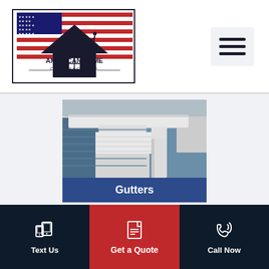[Figure (logo): American Home Contractors logo with American flag and house silhouette]
[Figure (illustration): Hamburger menu icon (three horizontal lines)]
[Figure (photo): Close-up photo of white house gutters and downspout on a blue-sided house]
Gutters
[Figure (illustration): Text Us icon - mobile device]
Text Us
[Figure (illustration): Get a Quote icon - document with lines]
Get a Quote
[Figure (illustration): Call Now icon - phone with rings]
Call Now